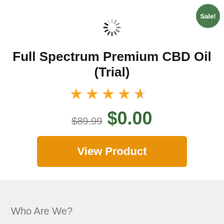[Figure (other): Sale! badge — green circle with white text 'Sale!' in top-right corner]
[Figure (other): Loading spinner icon (grey circular spinner)]
Full Spectrum Premium CBD Oil (Trial)
[Figure (other): 4.5 star rating displayed as yellow stars]
$89.99  $0.00
View Product
Who Are We?